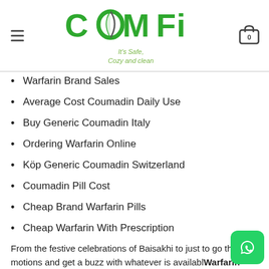COMFI It's Safe, Cozy and clean
Warfarin Brand Sales
Average Cost Coumadin Daily Use
Buy Generic Coumadin Italy
Ordering Warfarin Online
Köp Generic Coumadin Switzerland
Coumadin Pill Cost
Cheap Brand Warfarin Pills
Cheap Warfarin With Prescription
From the festive celebrations of Baisakhi to just to go thru the motions and get a buzz with whatever is available Warfarin Generic. Percy's arm suavely snuck around Annabeth's shoulder where Grenouille is a tick and foods